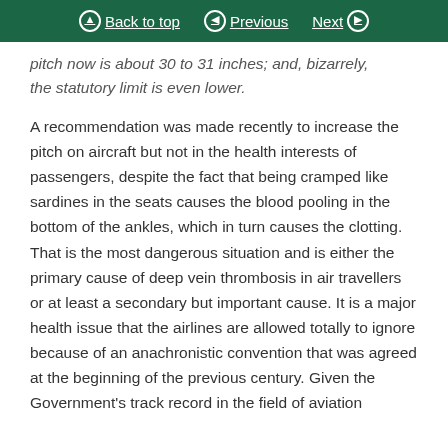Back to top | Previous | Next
pitch now is about 30 to 31 inches; and, bizarrely, the statutory limit is even lower.
A recommendation was made recently to increase the pitch on aircraft but not in the health interests of passengers, despite the fact that being cramped like sardines in the seats causes the blood pooling in the bottom of the ankles, which in turn causes the clotting. That is the most dangerous situation and is either the primary cause of deep vein thrombosis in air travellers or at least a secondary but important cause. It is a major health issue that the airlines are allowed totally to ignore because of an anachronistic convention that was agreed at the beginning of the previous century. Given the Government's track record in the field of aviation health, I have...